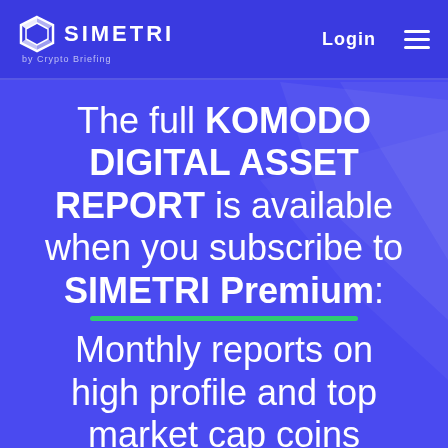SIMETRI by Crypto Briefing — Login
The full KOMODO DIGITAL ASSET REPORT is available when you subscribe to SIMETRI Premium: Monthly reports on high profile and top market cap coins